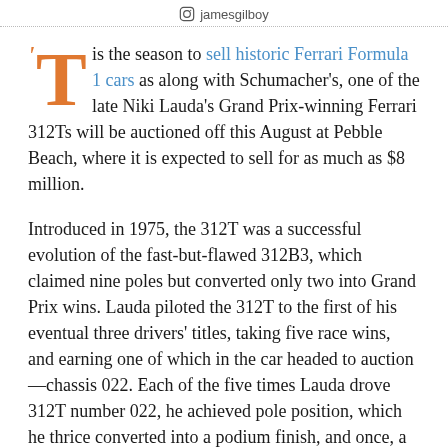jamesgilboy
'T is the season to sell historic Ferrari Formula 1 cars as along with Schumacher's, one of the late Niki Lauda's Grand Prix-winning Ferrari 312Ts will be auctioned off this August at Pebble Beach, where it is expected to sell for as much as $8 million.
Introduced in 1975, the 312T was a successful evolution of the fast-but-flawed 312B3, which claimed nine poles but converted only two into Grand Prix wins. Lauda piloted the 312T to the first of his eventual three drivers' titles, taking five race wins, and earning one of which in the car headed to auction—chassis 022. Each of the five times Lauda drove 312T number 022, he achieved pole position, which he thrice converted into a podium finish, and once, a race